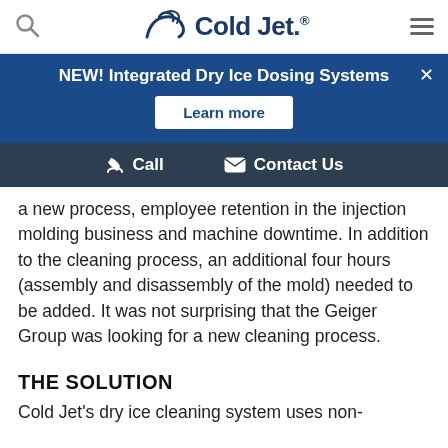Cold Jet logo and navigation header
NEW! Integrated Dry Ice Dosing Systems
Learn more
Call   Contact Us
a new process, employee retention in the injection molding business and machine downtime. In addition to the cleaning process, an additional four hours (assembly and disassembly of the mold) needed to be added. It was not surprising that the Geiger Group was looking for a new cleaning process.
THE SOLUTION
Cold Jet's dry ice cleaning system uses non-